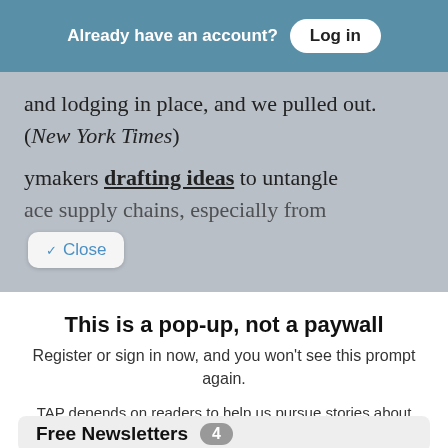Already have an account? Log in
and lodging in place, and we pulled out. (New York Times)
ymakers drafting ideas to untangle ace supply chains, especially from
Close
This is a pop-up, not a paywall
Register or sign in now, and you won't see this prompt again.
TAP depends on readers to help us pursue stories about IDEAS, POLITICS and POWER. If you have the ability to support independent journalism, your tax-deductible contribution will help keep this site free
Free Newsletters 4